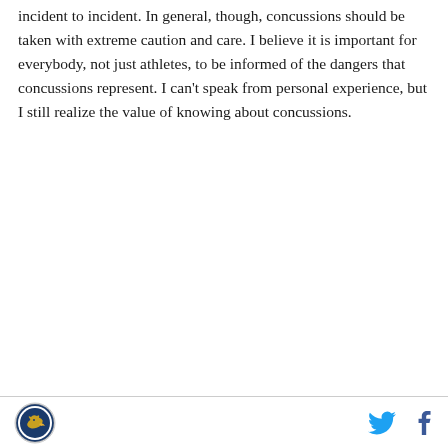incident to incident. In general, though, concussions should be taken with extreme caution and care. I believe it is important for everybody, not just athletes, to be informed of the dangers that concussions represent. I can't speak from personal experience, but I still realize the value of knowing about concussions.
[logo] [twitter icon] [facebook icon]